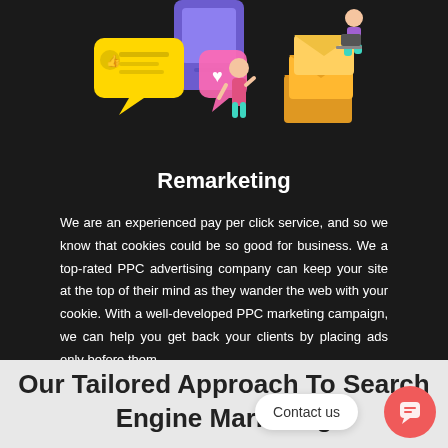[Figure (illustration): Isometric illustration showing social media and digital marketing elements: a person with a heart speech bubble, a phone, envelopes/mail icons, and a person sitting on a box with a laptop, all on a dark background.]
Remarketing
We are an experienced pay per click service, and so we know that cookies could be so good for business. We a top-rated PPC advertising company can keep your site at the top of their mind as they wander the web with your cookie. With a well-developed PPC marketing campaign, we can help you get back your clients by placing ads only before them.
Our Tailored Approach To Search Engine Marketing
Contact us